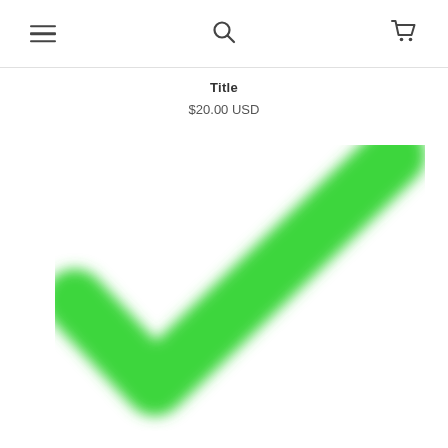Navigation header with menu, search, and cart icons
Title
$20.00 USD
[Figure (illustration): Large green checkmark/tick mark on white background, slightly blurred/soft-edged, indicating successful action or confirmation]